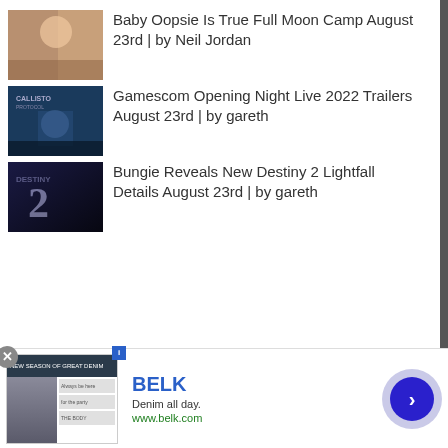Baby Oopsie Is True Full Moon Camp August 23rd | by Neil Jordan
Gamescom Opening Night Live 2022 Trailers August 23rd | by gareth
Bungie Reveals New Destiny 2 Lightfall Details August 23rd | by gareth
Categories
Select Category
[Figure (screenshot): Advertisement banner for Belk featuring denim clothing. Shows BELK brand name, 'Denim all day.' tagline, www.belk.com URL, and a navigation arrow button.]